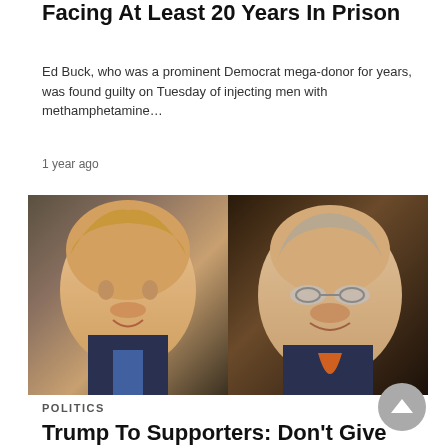Facing At Least 20 Years In Prison
Ed Buck, who was a prominent Democrat mega-donor for years, was found guilty on Tuesday of injecting men with methamphetamine…
1 year ago
[Figure (photo): Side-by-side photos of two men: on the left, a man with blond hair speaking, on the right, a heavyset man with glasses and an orange tie speaking.]
POLITICS
Trump To Supporters: Don't Give Money To Karl Rove